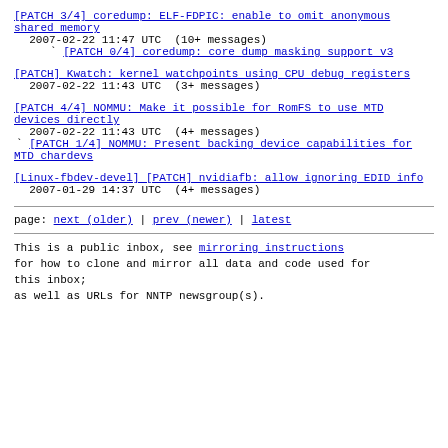[PATCH 3/4] coredump: ELF-FDPIC: enable to omit anonymous shared memory
2007-02-22 11:47 UTC  (10+ messages)
` [PATCH 0/4] coredump: core dump masking support v3
[PATCH] Kwatch: kernel watchpoints using CPU debug registers
2007-02-22 11:43 UTC  (3+ messages)
[PATCH 4/4] NOMMU: Make it possible for RomFS to use MTD devices directly
2007-02-22 11:43 UTC  (4+ messages)
` [PATCH 1/4] NOMMU: Present backing device capabilities for MTD chardevs
[Linux-fbdev-devel] [PATCH] nvidiafb: allow ignoring EDID info
2007-01-29 14:37 UTC  (4+ messages)
page: next (older) | prev (newer) | latest
This is a public inbox, see mirroring instructions for how to clone and mirror all data and code used for this inbox;
as well as URLs for NNTP newsgroup(s).